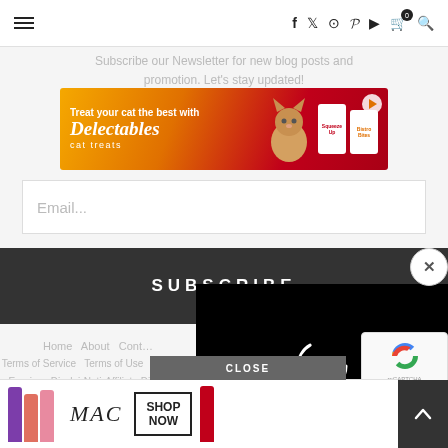☰  f  t  ⊙   pinterest  ▶  🛒0  🔍
Subscribe our Newsletter for new blog posts and promotion. Let's stay updated!
[Figure (photo): Advertisement banner: Treat your cat the best with Delectables cat treats, showing a cat and product packaging on a red/orange background with a play button]
Email...
SUBSCRIBE
[Figure (screenshot): Video overlay panel showing a black background with a white circular loading spinner, and a close (X) button in the top-right corner]
Home   About   Cont…
Terms of Service   Terms of Use   Copyright Notice
Earnings Disclaimer   Affiliate Disclosure
Shipping Policy   Refund Poli…
This we… a… you… icy
[Figure (photo): MAC cosmetics advertisement banner showing purple, pink and red lipsticks alongside the MAC logo and a SHOP NOW button]
CLOSE